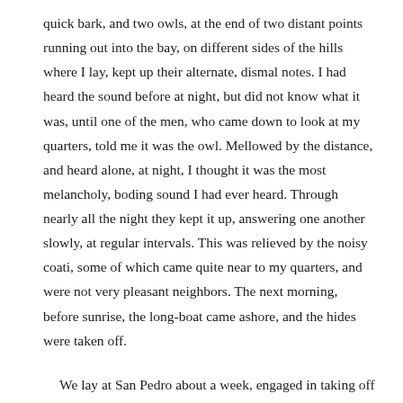quick bark, and two owls, at the end of two distant points running out into the bay, on different sides of the hills where I lay, kept up their alternate, dismal notes. I had heard the sound before at night, but did not know what it was, until one of the men, who came down to look at my quarters, told me it was the owl. Mellowed by the distance, and heard alone, at night, I thought it was the most melancholy, boding sound I had ever heard. Through nearly all the night they kept it up, answering one another slowly, at regular intervals. This was relieved by the noisy coati, some of which came quite near to my quarters, and were not very pleasant neighbors. The next morning, before sunrise, the long-boat came ashore, and the hides were taken off.
We lay at San Pedro about a week, engaged in taking off hides and in other labors, which had now become our regular duties. I spent one more day on the hill, watching a quantity of hides and goods, and this time succeeded in finding a part of a volume of Scott's Pirate, in a